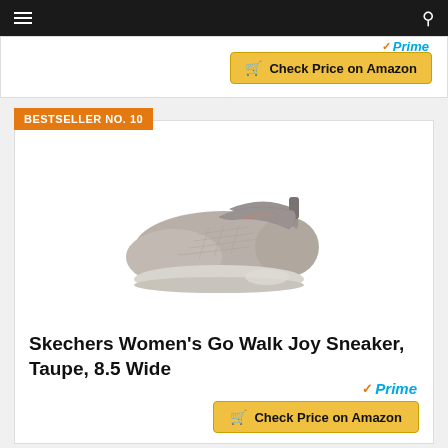Navigation bar with hamburger menu and search icon
Check Price on Amazon (previous product button)
BESTSELLER NO. 10
[Figure (photo): Skechers Women's Go Walk Joy Sneaker in Taupe color, side view showing slip-on mesh shoe with white sole]
Skechers Women's Go Walk Joy Sneaker, Taupe, 8.5 Wide
Prime
Check Price on Amazon